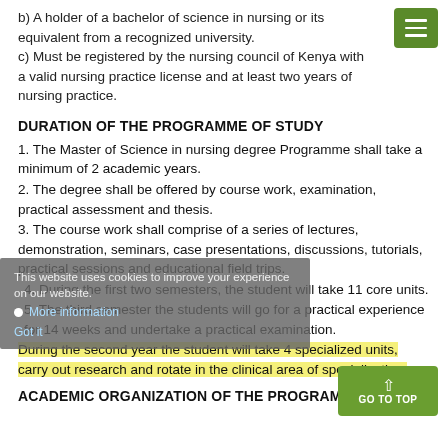b) A holder of a bachelor of science in nursing or its equivalent from a recognized university.
c) Must be registered by the nursing council of Kenya with a valid nursing practice license and at least two years of nursing practice.
DURATION OF THE PROGRAMME OF STUDY
1. The Master of Science in nursing degree Programme shall take a minimum of 2 academic years.
2. The degree shall be offered by course work, examination, practical assessment and thesis.
3. The course work shall comprise of a series of lectures, demonstration, seminars, case presentations, discussions, tutorials, practical sessions and educational field trips.
4. During the first two semesters, the student will take 11 core units.
5. The third semester the students will go for a practical experience for 14 weeks and undertake a practical examination.
During the second year the student will take 4 specialized units, carry out research and rotate in the clinical area of specialization.
ACADEMIC ORGANIZATION OF THE PROGRAMME